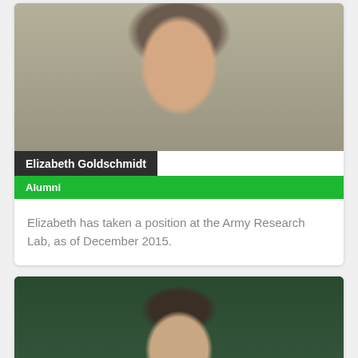[Figure (photo): Headshot photo of Elizabeth Goldschmidt, a woman with dark hair, smiling]
Elizabeth Goldschmidt
Alumni
Elizabeth has taken a position at the Army Research Lab, as of December 2015.
[Figure (photo): Headshot photo of a young man with dark hair and glasses, with green foliage in background]